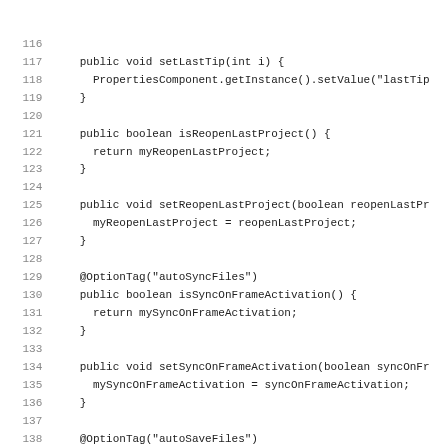Java source code listing lines 116-147, showing getter/setter methods for lastTip, reopenLastProject, syncOnFrameActivation (with @OptionTag autoSyncFiles annotation), and saveOnFrameDeactivation (with @OptionTag autoSaveFiles annotation), plus start of a Javadoc comment at line 147.